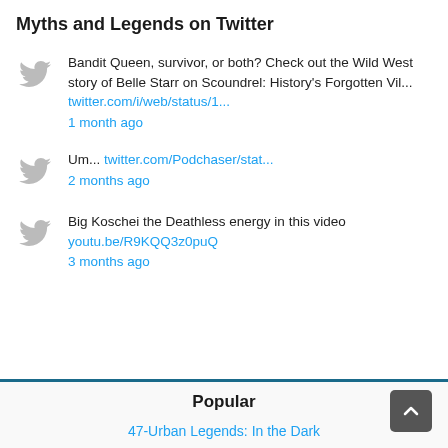Myths and Legends on Twitter
Bandit Queen, survivor, or both? Check out the Wild West story of Belle Starr on Scoundrel: History's Forgotten Vil... twitter.com/i/web/status/1... 1 month ago
Um... twitter.com/Podchaser/stat... 2 months ago
Big Koschei the Deathless energy in this video youtu.be/R9KQQ3z0puQ 3 months ago
Popular
47-Urban Legends: In the Dark